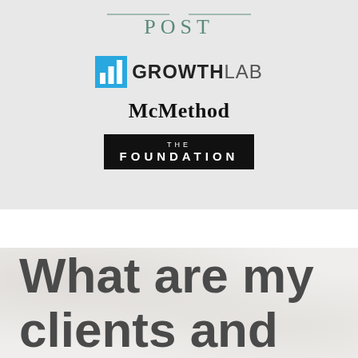[Figure (logo): Washington Post logo - POST text in teal serif letters with decorative lines]
[Figure (logo): GrowthLab logo with blue icon showing bar chart and bold GROWTHLAB text]
[Figure (logo): McMethod logo in bold serif font]
[Figure (logo): The Foundation logo in white text on black rectangular background]
What are my clients and